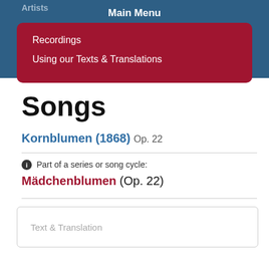Artists
Main Menu
Videos
Recordings
Using our Texts & Translations
Songs
Kornblumen (1868) Op. 22
Part of a series or song cycle:
Mädchenblumen (Op. 22)
Text & Translation